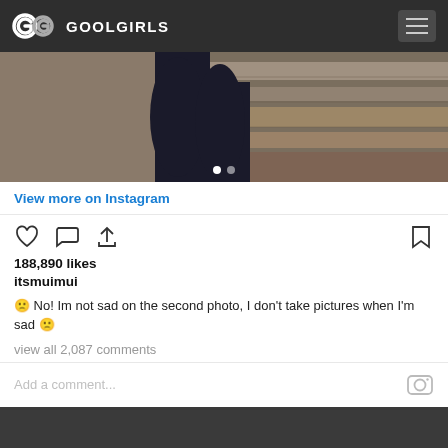GOOLGIRLS
[Figure (photo): Person wearing dark clothing, legs visible, standing near rocky/sandy terrain]
View more on Instagram
188,890 likes
itsmuimui
🙁 No! Im not sad on the second photo, I don't take pictures when I'm sad 🙁
view all 2,087 comments
Add a comment...